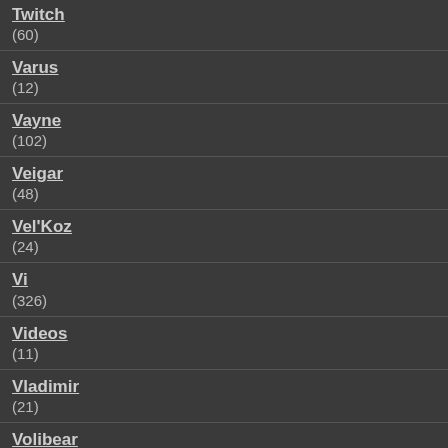Twitch (60)
Varus (12)
Vayne (102)
Veigar (48)
Vel'Koz (24)
Vi (326)
Videos (11)
Vladimir (21)
Volibear (26)
Warwick (54)
Western (3)
Wukong